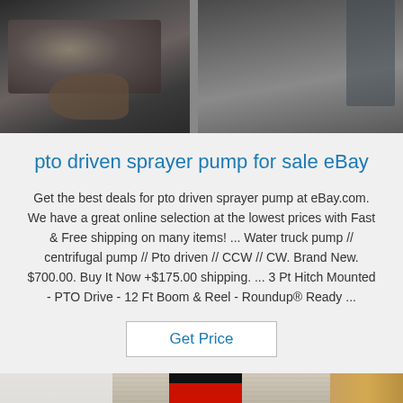[Figure (photo): Industrial machinery / pump equipment photo showing large cylindrical machine components in a workshop setting]
pto driven sprayer pump for sale eBay
Get the best deals for pto driven sprayer pump at eBay.com. We have a great online selection at the lowest prices with Fast & Free shipping on many items! ... Water truck pump // centrifugal pump // Pto driven // CCW // CW. Brand New. $700.00. Buy It Now +$175.00 shipping. ... 3 Pt Hitch Mounted - PTO Drive - 12 Ft Boom & Reel - Roundup® Ready ...
Get Price
[Figure (photo): Close-up photo of a flat metallic/wooden surface with a red element visible, and a TOP logo watermark in the bottom right corner]